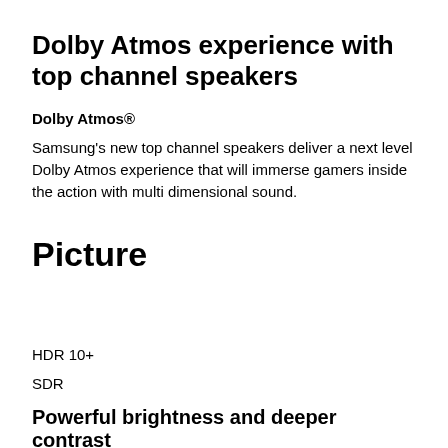Dolby Atmos experience with top channel speakers
Dolby Atmos®
Samsung's new top channel speakers deliver a next level Dolby Atmos experience that will immerse gamers inside the action with multi dimensional sound.
Picture
HDR 10+
SDR
Powerful brightness and deeper contrast